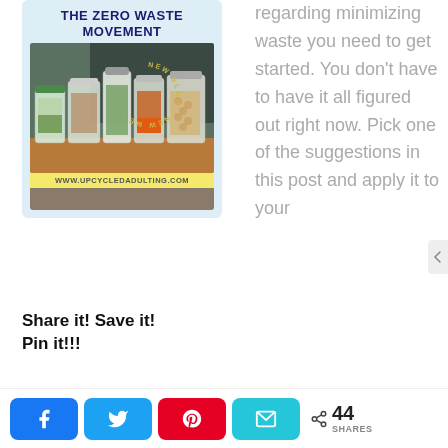[Figure (infographic): Pinterest-style infographic card with light blue background titled 'THE ZERO WASTE MOVEMENT' showing glass jars filled with various grains, legumes, and spices, with URL bar 'WWW.UPCYCLEDADULTING.COM' and a circular text overlay reading 'NEW BLOG · NEW ME']
Share it! Save it! Pin it!!!
regarding minimizing waste you need to get started. You don't have to have it all figured out right now. Pick one of the suggestions in this post and apply it to your
[Figure (infographic): Social sharing bar with Facebook, Twitter, Pinterest, and email buttons, plus a share count showing 44 SHARES]